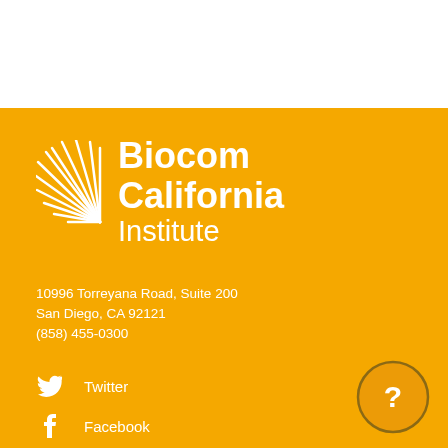[Figure (logo): Biocom California Institute logo — white sunburst icon with white text 'Biocom California Institute' on orange background]
10996 Torreyana Road, Suite 200
San Diego, CA 92121
(858) 455-0300
Twitter
Facebook
LinkedIn